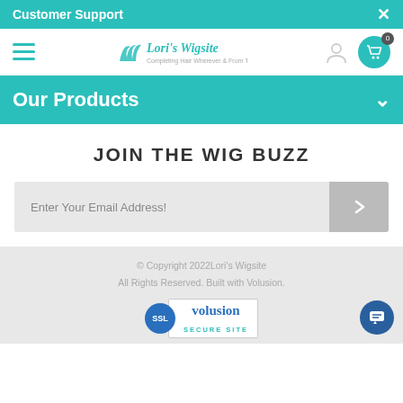Customer Support
[Figure (logo): Lori's Wigsite logo with hair graphic and tagline]
Our Products
JOIN THE WIG BUZZ
Enter Your Email Address!
© Copyright 2022Lori's Wigsite All Rights Reserved. Built with Volusion.